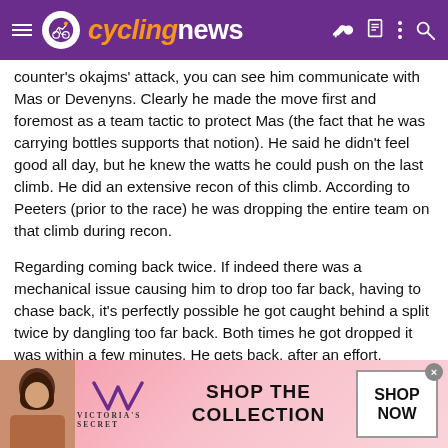cyclingnews
counter's Okajms' attack, you can see him communicate with Mas or Devenyns. Clearly he made the move first and foremost as a team tactic to protect Mas (the fact that he was carrying bottles supports that notion). He said he didn't feel good all day, but he knew the watts he could push on the last climb. He did an extensive recon of this climb. According to Peeters (prior to the race) he was dropping the entire team on that climb during recon.
Regarding coming back twice. If indeed there was a mechanical issue causing him to drop too far back, having to chase back, it's perfectly possible he got caught behind a split twice by dangling too far back. Both times he got dropped it was within a few minutes. He gets back, after an effort, doesn't move up immediately and catches his breath, only to be caught behind another split. Movistar was already pushing the pedal and a lot of riders were getting dropped. Considering he attacks 5k later, this seems like a more likely scenario than him
[Figure (photo): Victoria's Secret advertisement banner with model photo, VS logo, 'SHOP THE COLLECTION' text and 'SHOP NOW' button]